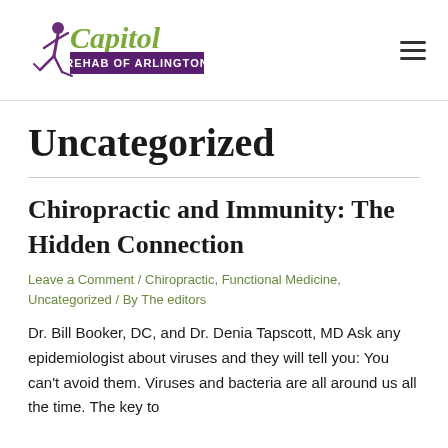Capitol Rehab of Arlington
Uncategorized
Chiropractic and Immunity: The Hidden Connection
Leave a Comment / Chiropractic, Functional Medicine, Uncategorized / By The editors
Dr. Bill Booker, DC, and Dr. Denia Tapscott, MD Ask any epidemiologist about viruses and they will tell you: You can't avoid them. Viruses and bacteria are all around us all the time. The key to